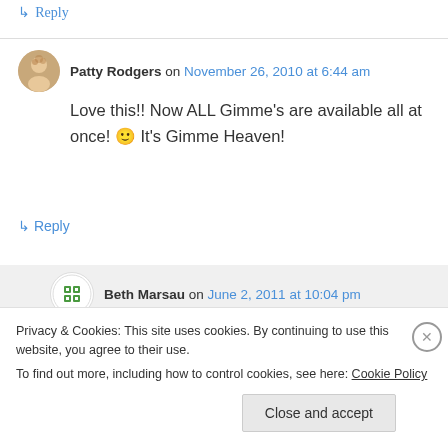↳ Reply
Patty Rodgers on November 26, 2010 at 6:44 am
Love this!! Now ALL Gimme's are available all at once! 🙂 It's Gimme Heaven!
↳ Reply
Beth Marsau on June 2, 2011 at 10:04 pm
Privacy & Cookies: This site uses cookies. By continuing to use this website, you agree to their use. To find out more, including how to control cookies, see here: Cookie Policy
Close and accept